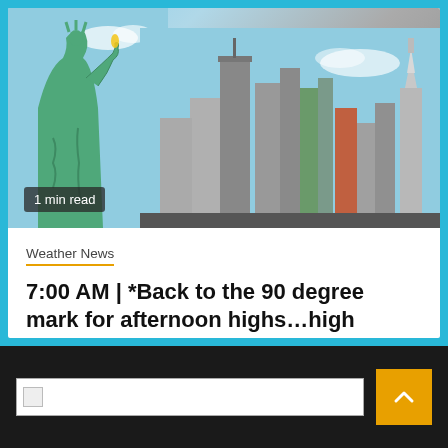[Figure (photo): Photo of Statue of Liberty with New York City skyline in the background, with a '1 min read' badge overlay in the bottom left]
Weather News
7:00 AM | *Back to the 90 degree mark for afternoon highs…high pressure stays in control* – Arcfield Weather
3 hours ago   eWeatherNews RSS Feed
[Figure (screenshot): Dark footer bar with an input/search field and a yellow scroll-to-top button with an upward chevron]